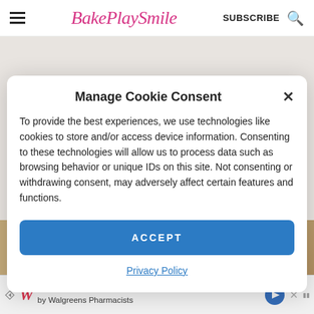BakePlaySmile — SUBSCRIBE
[Figure (screenshot): Background page with breadcrumb navigation text and food photo]
Manage Cookie Consent
To provide the best experiences, we use technologies like cookies to store and/or access device information. Consenting to these technologies will allow us to process data such as browsing behavior or unique IDs on this site. Not consenting or withdrawing consent, may adversely affect certain features and functions.
ACCEPT
Privacy Policy
[Figure (infographic): Walgreens advertisement banner: Choose the Brand Recommended by Walgreens Pharmacists]